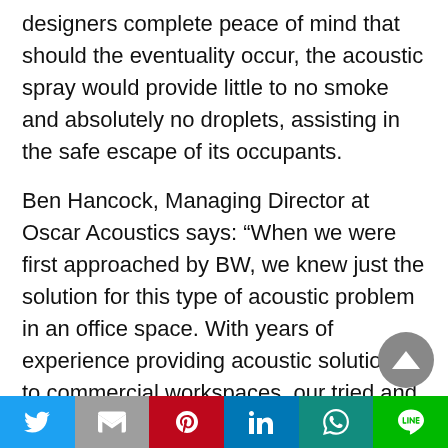designers complete peace of mind that should the eventuality occur, the acoustic spray would provide little to no smoke and absolutely no droplets, assisting in the safe escape of its occupants.
Ben Hancock, Managing Director at Oscar Acoustics says: “When we were first approached by BW, we knew just the solution for this type of acoustic problem in an office space. With years of experience providing acoustic solutions to commercial workspaces, our tried and testedSonaSprayrange is our go-to choice for achieving superb acoustic results without desig... compromise.
Twitter | Gmail | Pinterest | LinkedIn | WhatsApp | Line